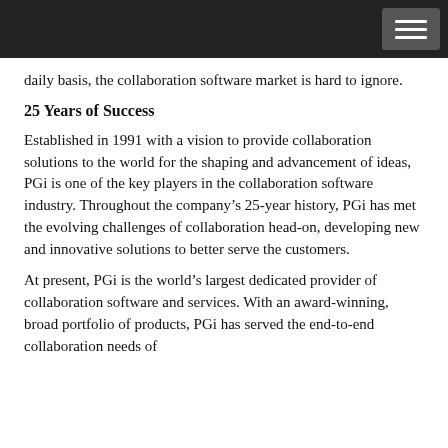daily basis, the collaboration software market is hard to ignore.
25 Years of Success
Established in 1991 with a vision to provide collaboration solutions to the world for the shaping and advancement of ideas, PGi is one of the key players in the collaboration software industry. Throughout the company’s 25-year history, PGi has met the evolving challenges of collaboration head-on, developing new and innovative solutions to better serve the customers.
At present, PGi is the world’s largest dedicated provider of collaboration software and services. With an award-winning, broad portfolio of products, PGi has served the end-to-end collaboration needs of